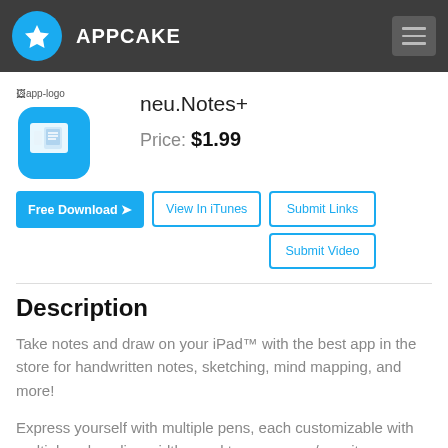APPCAKE
[Figure (illustration): App logo placeholder image (broken image icon) and app icon: blue rounded square with notepad/device icon]
neu.Notes+
Price: $1.99
Free Download | View In iTunes | Submit Links | Submit Video
Description
Take notes and draw on your iPad™ with the best app in the store for handwritten notes, sketching, mind mapping, and more!
Express yourself with multiple pens, each customizable with multiple colors, line widths, and transparency/opacity.